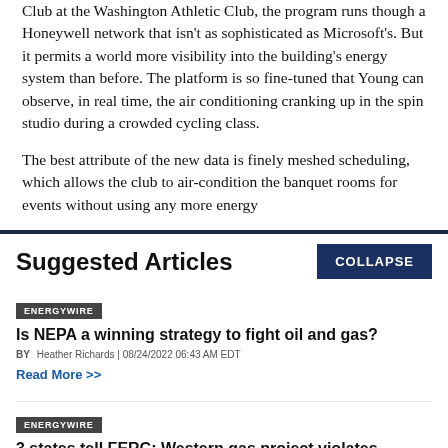Club at the Washington Athletic Club, the program runs though a Honeywell network that isn't as sophisticated as Microsoft's. But it permits a world more visibility into the building's energy system than before. The platform is so fine-tuned that Young can observe, in real time, the air conditioning cranking up in the spin studio during a crowded cycling class.
The best attribute of the new data is finely meshed scheduling, which allows the club to air-condition the banquet rooms for events without using any more energy
Suggested Articles
COLLAPSE
ENERGYWIRE
Is NEPA a winning strategy to fight oil and gas?
BY Heather Richards | 08/24/2022 06:43 AM EDT
Read More >>
ENERGYWIRE
3 states tell FERC: Western gas project violates climate laws